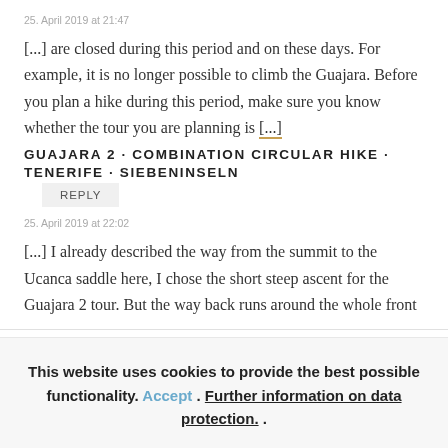25. April 2019 at 21:47
[...] are closed during this period and on these days. For example, it is no longer possible to climb the Guajara. Before you plan a hike during this period, make sure you know whether the tour you are planning is [...]
GUAJARA 2 - COMBINATION CIRCULAR HIKE - TENERIFE - SIEBENINSELN
25. April 2019 at 22:02
[...] I already described the way from the summit to the Ucanca saddle here, I chose the short steep ascent for the Guajara 2 tour. But the way back runs around the whole front
This website uses cookies to provide the best possible functionality. Accept . Further information on data protection. .